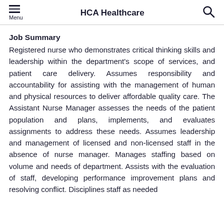Menu | HCA Healthcare
Job Summary
Registered nurse who demonstrates critical thinking skills and leadership within the department's scope of services, and patient care delivery. Assumes responsibility and accountability for assisting with the management of human and physical resources to deliver affordable quality care. The Assistant Nurse Manager assesses the needs of the patient population and plans, implements, and evaluates assignments to address these needs. Assumes leadership and management of licensed and non-licensed staff in the absence of nurse manager. Manages staffing based on volume and needs of department. Assists with the evaluation of staff, developing performance improvement plans and resolving conflict. Disciplines staff as needed